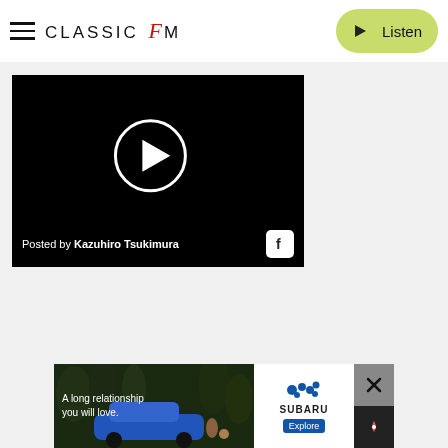Classic FM — Listen
[Figure (screenshot): Facebook video embed showing a play button circle on black background, with text 'Posted by Kazuhiro Tsukimura' and Facebook icon at the bottom]
[Figure (infographic): Subaru advertisement banner showing 'A long relationship you will love.' with a car and person with dog in forest setting, Subaru logo and Explore button]